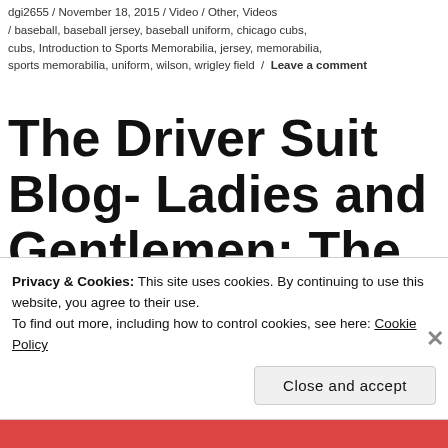dgi2655 / November 18, 2015 / Video / Other, Videos / baseball, baseball jersey, baseball uniform, chicago cubs, cubs, Introduction to Sports Memorabilia, jersey, memorabilia, sports memorabilia, uniform, wilson, wrigley field / Leave a comment
The Driver Suit Blog- Ladies and Gentlemen: The Paint
Privacy & Cookies: This site uses cookies. By continuing to use this website, you agree to their use.
To find out more, including how to control cookies, see here: Cookie Policy
Close and accept